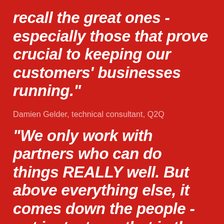recall the great ones - especially those that prove crucial to keeping our customers' businesses running."
Damien Gelder, technical consultant, Q2Q
"We only work with partners who can do things REALLY well. But above everything else, it comes down the people - not just a team that is there when you’re thriving, but a company the customer can rely on when the chips are down